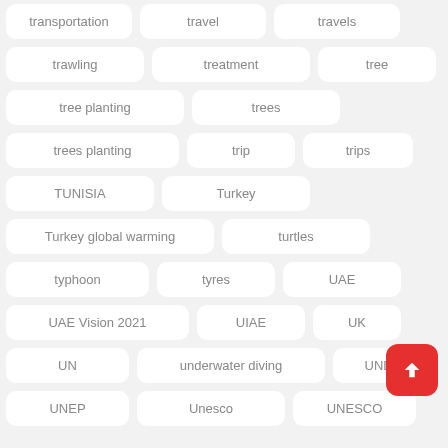transportation
travel
travels
trawling
treatment
tree
tree planting
trees
trees planting
trip
trips
TUNISIA
Turkey
Turkey global warming
turtles
typhoon
tyres
UAE
UAE Vision 2021
UIAE
UK
UN
underwater diving
UNDP
UNEP
Unesco
UNESCO